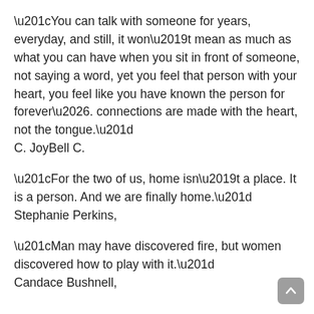“You can talk with someone for years, everyday, and still, it won’t mean as much as what you can have when you sit in front of someone, not saying a word, yet you feel that person with your heart, you feel like you have known the person for forever…. connections are made with the heart, not the tongue.”
C. JoyBell C.
“For the two of us, home isn’t a place. It is a person. And we are finally home.”
Stephanie Perkins,
“Man may have discovered fire, but women discovered how to play with it.”
Candace Bushnell,